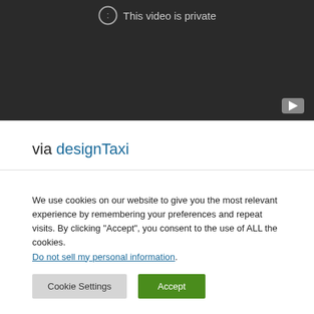[Figure (screenshot): Dark video player showing 'This video is private' message with a lock icon and YouTube logo in bottom right corner]
via designTaxi
We use cookies on our website to give you the most relevant experience by remembering your preferences and repeat visits. By clicking “Accept”, you consent to the use of ALL the cookies. Do not sell my personal information.
Cookie Settings   Accept